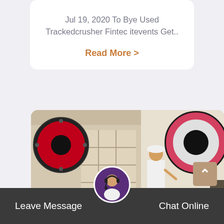Jul 19, 2020 To Bye Used Trackedcrusher Fintec itevents Get..
Read More >
[Figure (photo): Industrial jaw crusher machinery with a worker in a white hard hat and shirt standing in front of large crusher equipment with red and black flywheels]
Leave Message
Chat Online